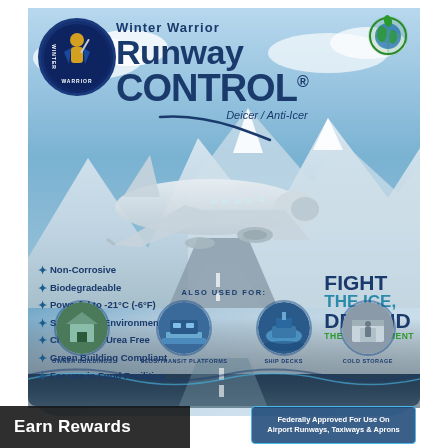[Figure (photo): Winter Warrior Runway Control product bag showing a commercial airplane taking off from a snowy runway, with mountains in the background. Features product branding, bullet points of product features, circular use-case images at the bottom, and promotional text.]
Winter Warrior Runway Control® Deicer / Anti-Icer
Non-Corrosive
Biodegradeable
Powerful to -21°C (-6°F)
Safe on the Environment
Chlorides & Urea Free
Green Building Compliant
For use in Food Facilities
FIGHT THE ICE, DEFEND THE ENVIRONMENT
ALSO USED FOR:
OWNER BUILDINGS
PEDS/TRANSIT PLATFORMS
SHIP DECKS
COLD STORAGE
Earn Rewards
Federally Approved For Use On Airport Runways, Taxiways & Aprons